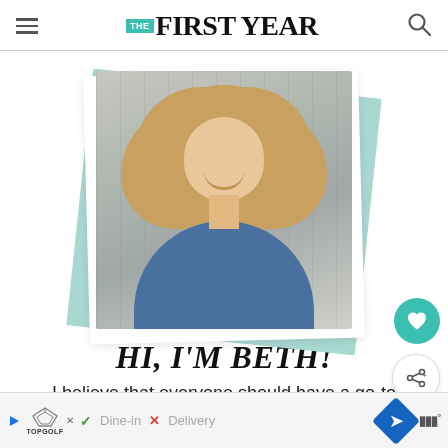THE FIRST YEAR
[Figure (photo): Portrait photo of Beth, a woman with curly reddish-brown hair, smiling, wearing a denim shirt, against a light background. Photo is presented on layered card/polaroid frames with teal accent.]
HI, I'M BETH!
I believe that everyone should have a go-to dessert! With 600+ recipes, I'll help you find
[Figure (other): Advertisement banner: Topgolf ad with Dine-in checkmark and Delivery X mark, navigation icons]
Dine-in  Delivery — Topgolf ad banner